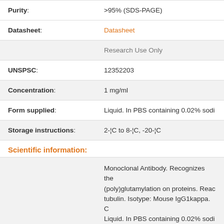| Field | Value |
| --- | --- |
| Purity: | >95% (SDS-PAGE) |
| Datasheet: | Datasheet |
|  | Research Use Only |
| UNSPSC: | 12352203 |
| Concentration: | 1 mg/ml |
| Form supplied: | Liquid. In PBS containing 0.02% sodu... |
| Storage instructions: | 2-¦C to 8-¦C, -20-¦C |
Scientific information:
Monoclonal Antibody. Recognizes the (poly)glutamylation on proteins. Reac tubulin. Isotype: Mouse IgG1kappa. Liquid. In PBS containing 0.02% sodu translational modification in which glu